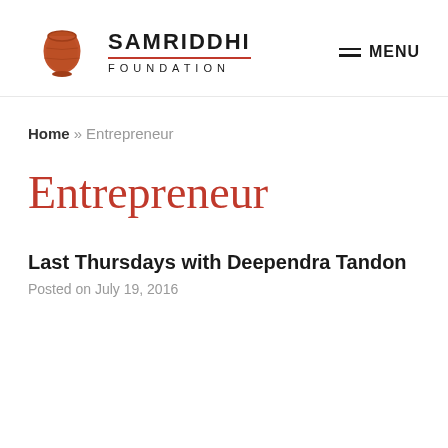[Figure (logo): Samriddhi Foundation logo with a terracotta/rust-colored pot icon and text 'SAMRIDDHI FOUNDATION' with a horizontal red divider line]
MENU
Home » Entrepreneur
Entrepreneur
Last Thursdays with Deependra Tandon
Posted on July 19, 2016